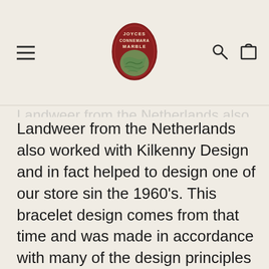Joyces Connemara Marble logo with hamburger menu, search and cart icons
Landweer from the Netherlands also worked with Kilkenny Design and in fact helped to design one of our store sin the 1960's. This bracelet design comes from that time and was made in accordance with many of the design principles from this period. The Marble is a beautiful olive green with delicate dark marbling that is perfectly all matched. The design at the back of the bracelet takes reference from the metal worker and is honest in its approach. This is a great example of a return to well made